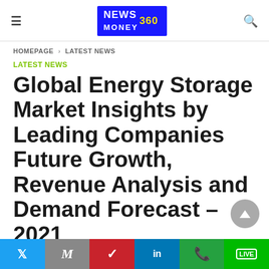NEWS MONEY 360 — hamburger menu and search icons
HOMEPAGE > LATEST NEWS
LATEST NEWS
Global Energy Storage Market Insights by Leading Companies Future Growth, Revenue Analysis and Demand Forecast – 2021